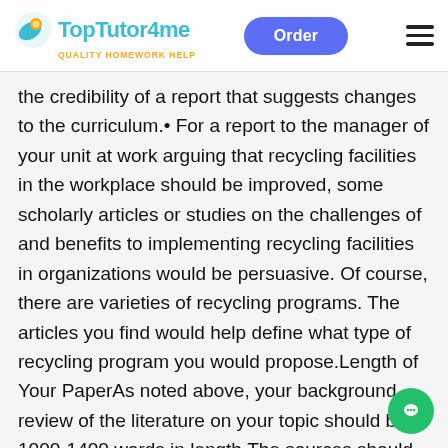TopTutor4me — QUALITY HOMEWORK HELP | Order
the credibility of a report that suggests changes to the curriculum.• For a report to the manager of your unit at work arguing that recycling facilities in the workplace should be improved, some scholarly articles or studies on the challenges of and benefits to implementing recycling facilities in organizations would be persuasive. Of course, there are varieties of recycling programs. The articles you find would help define what type of recycling program you would propose.Length of Your PaperAs noted above, your background review of the literature on your topic should be 1000–1400 words in length.The sources should be cited throughout the paper in APA form and listed in a References page at the end of the